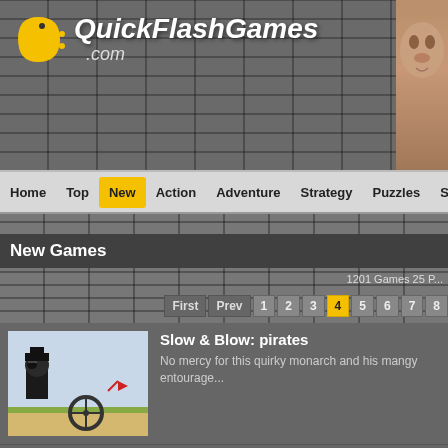QuickFlashGames.com
Home | Top | New | Action | Adventure | Strategy | Puzzles | Sports | Shoo
New Games
1201 Games 25 P...
First Prev 1 2 3 4 5 6 7 8
Slow & Blow: pirates
No mercy for this quirky monarch and his mangy entourage...
Bububbles
Bububbles is colorful bubble shooter game for your free time. Shoot bubbles, match colors, clear levels and get points. An ideal way to relax from the daily stress.
Tornado Rush